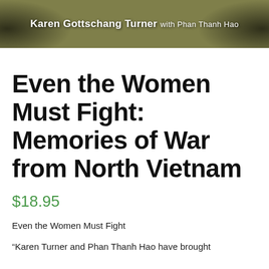[Figure (illustration): Book cover banner with olive/khaki green background, dark silhouette figures on left and right edges, and author name text: 'Karen Gottschang Turner with Phan Thanh Hao' in white bold font]
Even the Women Must Fight: Memories of War from North Vietnam
$18.95
Even the Women Must Fight
“Karen Turner and Phan Thanh Hao have brought